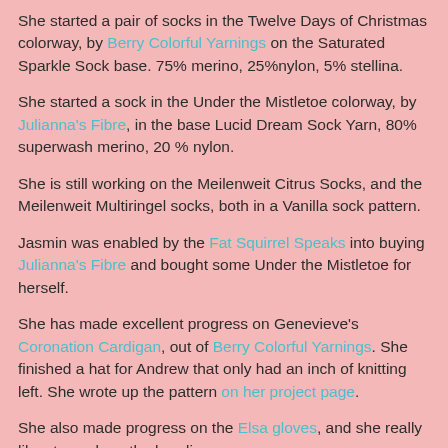She started a pair of socks in the Twelve Days of Christmas colorway, by Berry Colorful Yarnings on the Saturated Sparkle Sock base. 75% merino, 25%nylon, 5% stellina.
She started a sock in the Under the Mistletoe colorway, by Julianna's Fibre, in the base Lucid Dream Sock Yarn, 80% superwash merino, 20 % nylon.
She is still working on the Meilenweit Citrus Socks, and the Meilenweit Multiringel socks, both in a Vanilla sock pattern.
Jasmin was enabled by the Fat Squirrel Speaks into buying Julianna's Fibre and bought some Under the Mistletoe for herself.
She has made excellent progress on Genevieve's Coronation Cardigan, out of Berry Colorful Yarnings. She finished a hat for Andrew that only had an inch of knitting left. She wrote up the pattern on her project page.
She also made progress on the Elsa gloves, and she really likes to work on the beading.